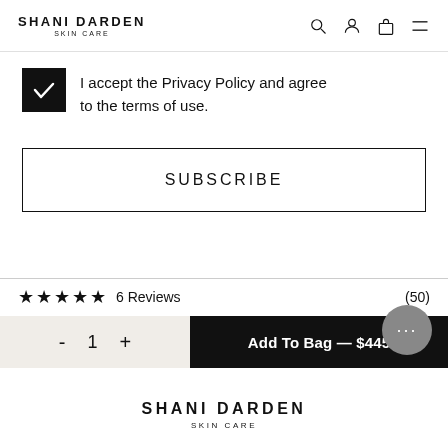SHANI DARDEN SKIN CARE
I accept the Privacy Policy and agree to the terms of use.
SUBSCRIBE
★★★★★ 6 Reviews (50)
- 1 + Add To Bag — $445
SHANI DARDEN SKIN CARE